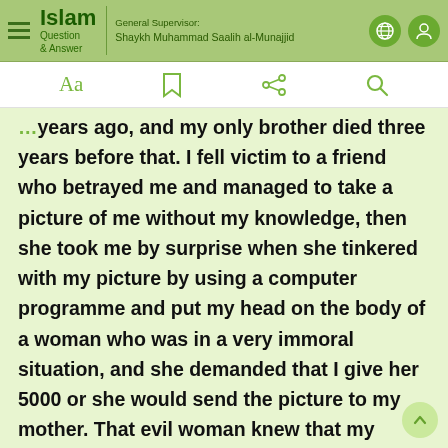Islam Question & Answer — General Supervisor: Shaykh Muhammad Saalih al-Munajjid
years ago, and my only brother died three years before that. I fell victim to a friend who betrayed me and managed to take a picture of me without my knowledge, then she took me by surprise when she tinkered with my picture by using a computer programme and put my head on the body of a woman who was in a very immoral situation, and she demanded that I give her 5000 or she would send the picture to my mother. That evil woman knew that my mother suffers from spasms in her chest because of grief, and she said to me literally: "If you do not give